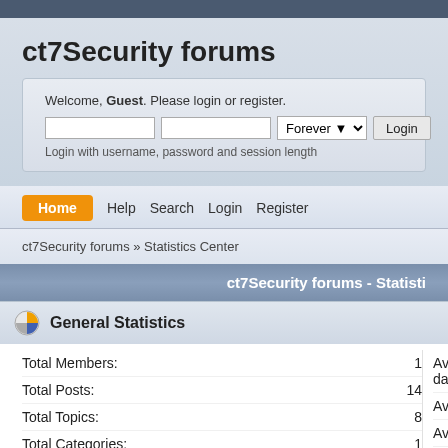ct7Security forums
Welcome, Guest. Please login or register.
Login with username, password and session length
Home
Help
Search
Login
Register
ct7Security forums » Statistics Center
ct7Security forums - Statisti
General Statistics
| Label | Value |
| --- | --- |
| Total Members: | 1 |
| Total Posts: | 14 |
| Total Topics: | 8 |
| Total Categories: | 1 |
Average
day:
Average
Average
Total Po